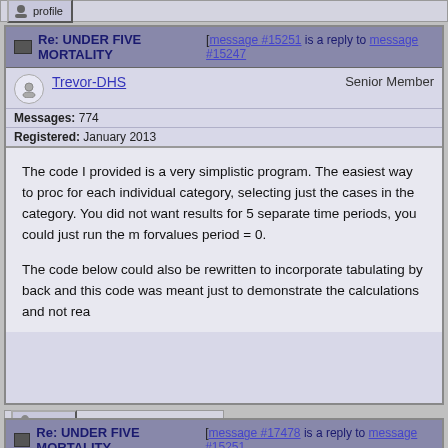profile
Re: UNDER FIVE MORTALITY [message #15251 is a reply to message #15247
Trevor-DHS    Senior Member
Messages: 774
Registered: January 2013
The code I provided is a very simplistic program. The easiest way to proc for each individual category, selecting just the cases in the category. You did not want results for 5 separate time periods, you could just run the m forvalues period = 0.
The code below could also be rewritten to incorporate tabulating by back and this code was meant just to demonstrate the calculations and not rea
profile
Re: UNDER FIVE MORTALITY [message #17478 is a reply to message #15251